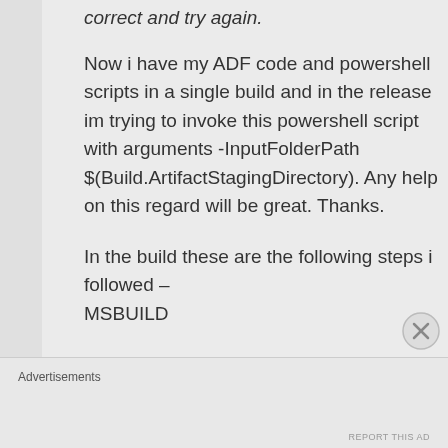correct and try again.
Now i have my ADF code and powershell scripts in a single build and in the release im trying to invoke this powershell script with arguments -InputFolderPath $(Build.ArtifactStagingDirectory). Any help on this regard will be great. Thanks.
In the build these are the following steps i followed – MSBUILD
Advertisements